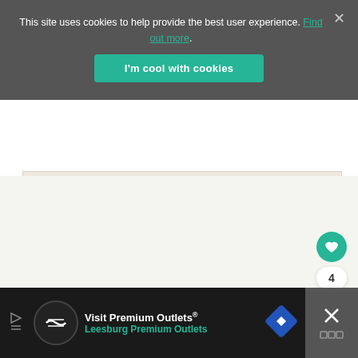This site uses cookies to help provide the best user experience. Find out more.
[Figure (screenshot): Cookie consent banner with teal 'I'm cool with cookies' button on dark gray background]
[Figure (screenshot): Light beige content area with teal heart FAB button, count '4', and share button on right side]
[Figure (advertisement): Dark advertisement bar for Visit Premium Outlets - Leesburg Premium Outlets with logo, navigation diamond icon, and close X button]